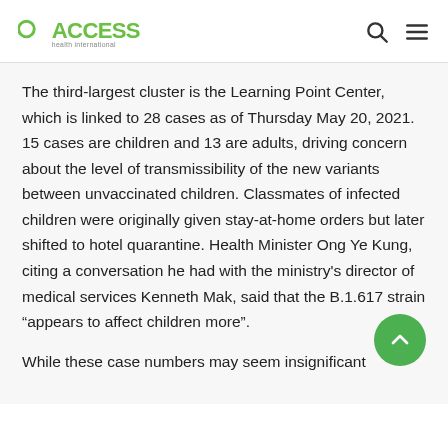ACCESS health international
The third-largest cluster is the Learning Point Center, which is linked to 28 cases as of Thursday May 20, 2021. 15 cases are children and 13 are adults, driving concern about the level of transmissibility of the new variants between unvaccinated children. Classmates of infected children were originally given stay-at-home orders but later shifted to hotel quarantine. Health Minister Ong Ye Kung, citing a conversation he had with the ministry's director of medical services Kenneth Mak, said that the B.1.617 strain “appears to affect children more”.
While these case numbers may seem insignificant